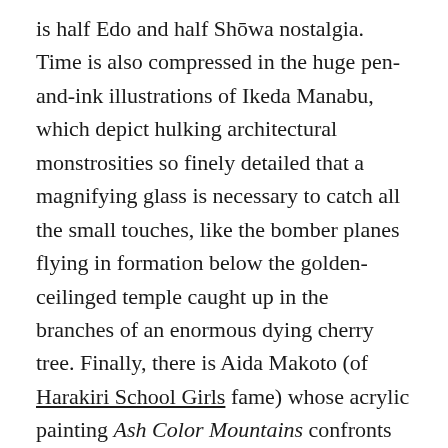is half Edo and half Shōwa nostalgia. Time is also compressed in the huge pen-and-ink illustrations of Ikeda Manabu, which depict hulking architectural monstrosities so finely detailed that a magnifying glass is necessary to catch all the small touches, like the bomber planes flying in formation below the golden-ceilinged temple caught up in the branches of an enormous dying cherry tree. Finally, there is Aida Makoto (of Harakiri School Girls fame) whose acrylic painting Ash Color Mountains confronts the viewer with towering piles of dead salarymen, each individually detailed, which somehow makes the spectacle even more disturbing.